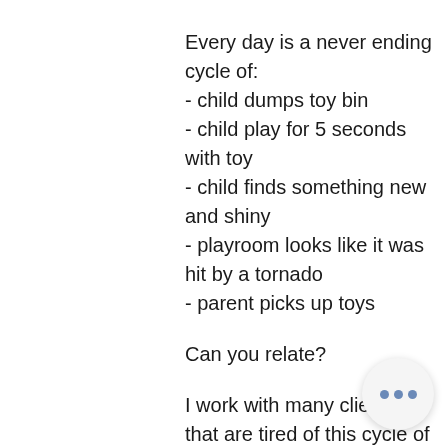Every day is a never ending cycle of:
- child dumps toy bin
- child play for 5 seconds with toy
- child finds something new and shiny
- playroom looks like it was hit by a tornado
- parent picks up toys
Can you relate?
I work with many clients that are tired of this cycle of destruction.  Like literally drop dead tired from picking up all day. Now of course we can discipline our children to help. This is a great place to start. But you can also create a space that is easy to keep organized and... How you set up the room can make a